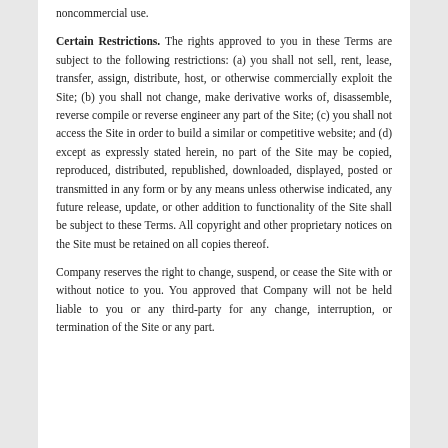noncommercial use.
Certain Restrictions. The rights approved to you in these Terms are subject to the following restrictions: (a) you shall not sell, rent, lease, transfer, assign, distribute, host, or otherwise commercially exploit the Site; (b) you shall not change, make derivative works of, disassemble, reverse compile or reverse engineer any part of the Site; (c) you shall not access the Site in order to build a similar or competitive website; and (d) except as expressly stated herein, no part of the Site may be copied, reproduced, distributed, republished, downloaded, displayed, posted or transmitted in any form or by any means unless otherwise indicated, any future release, update, or other addition to functionality of the Site shall be subject to these Terms. All copyright and other proprietary notices on the Site must be retained on all copies thereof.
Company reserves the right to change, suspend, or cease the Site with or without notice to you. You approved that Company will not be held liable to you or any third-party for any change, interruption, or termination of the Site or any part.